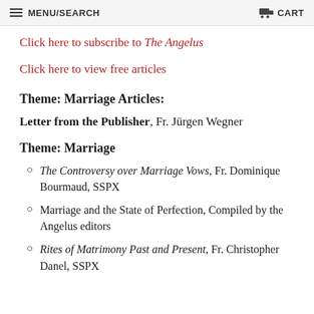MENU/SEARCH   CART
Click here to subscribe to The Angelus
Click here to view free articles
Theme: Marriage
Articles:
Letter from the Publisher, Fr. Jürgen Wegner
Theme: Marriage
The Controversy over Marriage Vows, Fr. Dominique Bourmaud, SSPX
Marriage and the State of Perfection, Compiled by the Angelus editors
Rites of Matrimony Past and Present, Fr. Christopher Danel, SSPX